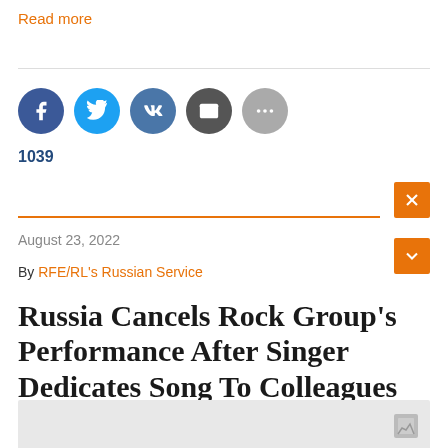Read more
[Figure (other): Social sharing icons: Facebook, Twitter, VK, Email, More]
1039
August 23, 2022
By RFE/RL's Russian Service
Russia Cancels Rock Group's Performance After Singer Dedicates Song To Colleagues Who Fled
[Figure (photo): Partial image strip at bottom of page]